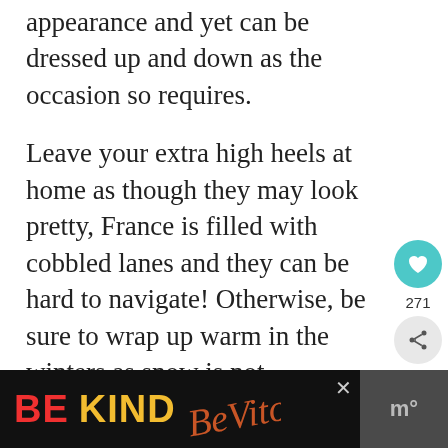appearance and yet can be dressed up and down as the occasion so requires.
Leave your extra high heels at home as though they may look pretty, France is filled with cobbled lanes and they can be hard to navigate! Otherwise, be sure to wrap up warm in the winters as snow is not uncommon in the North of the country (including in Paris). I personally love this vegan coat!
[Figure (other): Heart/like button (teal circle with heart icon), count 271, and share button]
[Figure (other): What's Next panel with Prague Travel Tips thumbnail and text]
[Figure (other): Advertisement banner: BE KIND with decorative script and close button]